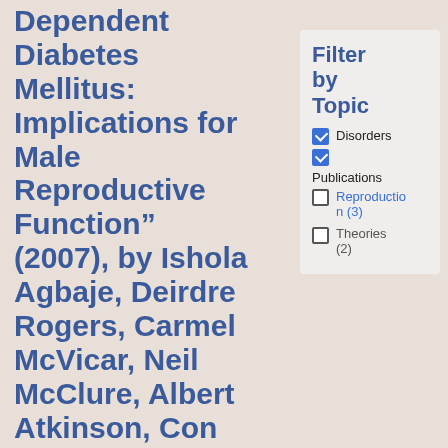Dependent Diabetes Mellitus: Implications for Male Reproductive Function" (2007), by Ishola Agbaje, Deirdre Rogers, Carmel McVicar, Neil McClure, Albert Atkinson, Con Mallidis, and Sheena Lewis
Filter by Topic
Disorders (checked)
Publications (checked)
Reproduction (3)
Theories (2)